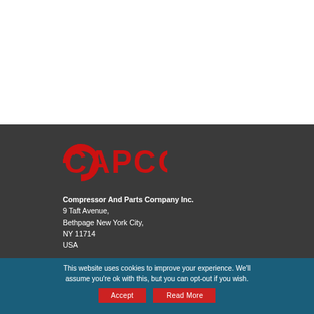[Figure (logo): CAPCO logo in bold red letters on dark background]
Compressor And Parts Company Inc.
9 Taft Avenue,
Bethpage New York City,
NY 11714
USA
This website uses cookies to improve your experience. We'll assume you're ok with this, but you can opt-out if you wish.